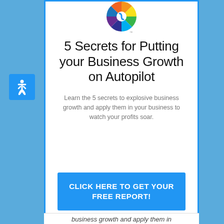[Figure (logo): Colorful circular logo with orange, yellow, green, blue, and purple segments, with a TM mark]
5 Secrets for Putting your Business Growth on Autopilot
Learn the 5 secrets to explosive business growth and apply them in your business to watch your profits soar.
CLICK HERE TO GET YOUR FREE REPORT!
business growth and apply them in